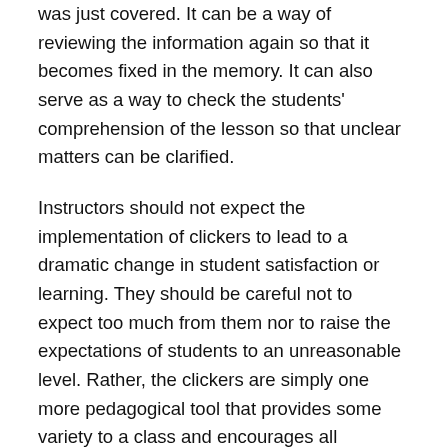was just covered. It can be a way of reviewing the information again so that it becomes fixed in the memory. It can also serve as a way to check the students' comprehension of the lesson so that unclear matters can be clarified.
Instructors should not expect the implementation of clickers to lead to a dramatic change in student satisfaction or learning. They should be careful not to expect too much from them nor to raise the expectations of students to an unreasonable level. Rather, the clickers are simply one more pedagogical tool that provides some variety to a class and encourages all students to participate in some way.
Share this: